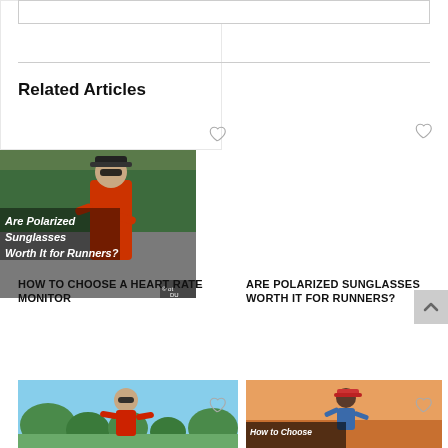Related Articles
HOW TO CHOOSE A HEART RATE MONITOR
[Figure (photo): Photo of a runner wearing polarized sunglasses with overlay text: Are Polarized Sunglasses Worth It for Runners?]
ARE POLARIZED SUNGLASSES WORTH IT FOR RUNNERS?
[Figure (photo): Photo of a man in red shirt wearing sunglasses outdoors]
[Figure (photo): Photo of a runner in a hat with How to Choose overlay text]